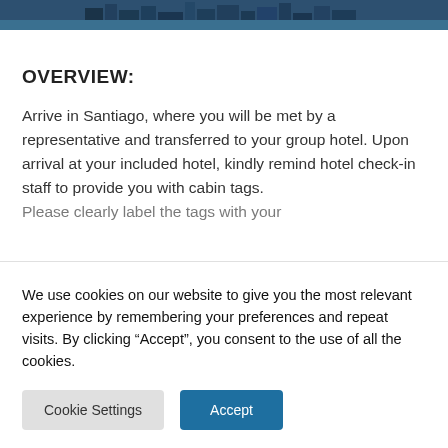[Figure (photo): Aerial or elevated cityscape photo of Santiago, partially visible at top of page]
OVERVIEW:
Arrive in Santiago, where you will be met by a representative and transferred to your group hotel. Upon arrival at your included hotel, kindly remind hotel check-in staff to provide you with cabin tags. Please clearly label the tags with your
We use cookies on our website to give you the most relevant experience by remembering your preferences and repeat visits. By clicking “Accept”, you consent to the use of all the cookies.